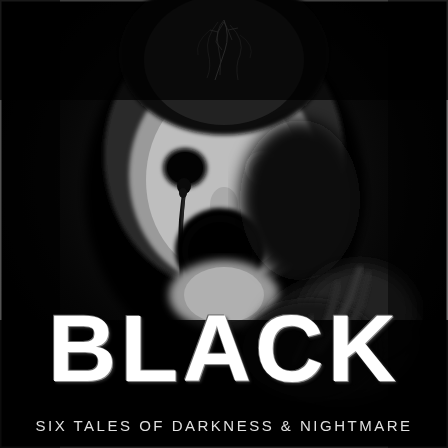[Figure (illustration): A dark, high-contrast monochrome horror image of a masked face with a gaping black mouth, cracked head, and a dark liquid dripping from one eye socket. The background is nearly pure black with subtle grey tones revealing the figure.]
BLACK
Six Tales of Darkness & Nightmare